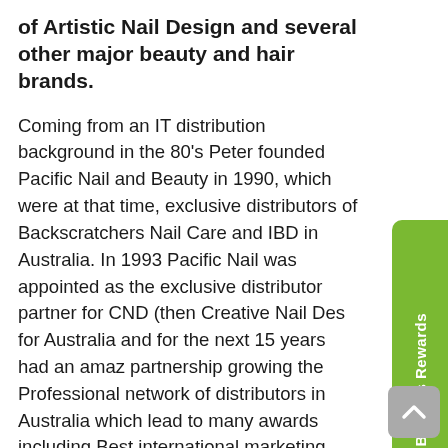of Artistic Nail Design and several other major beauty and hair brands.
Coming from an IT distribution background in the 80's Peter founded Pacific Nail and Beauty in 1990, which were at that time, exclusive distributors of Backscratchers Nail Care and IBD in Australia. In 1993 Pacific Nail was appointed as the exclusive distributor partner for CND (then Creative Nail Des for Australia and for the next 15 years had an amaz partnership growing the Professional network of distributors in Australia which lead to many awards including Best international marketing, Best Education programs and International Distributor of the year for best overall performance globally on two separate occasions.
Peter has also been involved as a business partner in